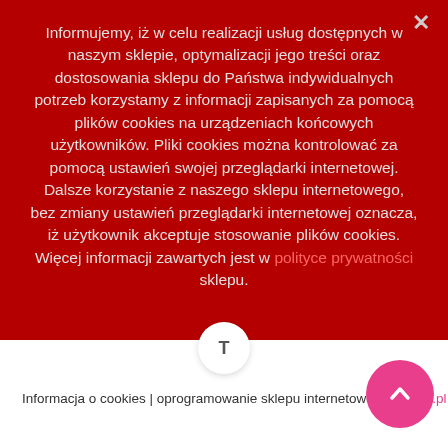Informujemy, iż w celu realizacji usług dostępnych w naszym sklepie, optymalizacji jego treści oraz dostosowania sklepu do Państwa indywidualnych potrzeb korzystamy z informacji zapisanych za pomocą plików cookies na urządzeniach końcowych użytkowników. Pliki cookies można kontrolować za pomocą ustawień swojej przeglądarki internetowej. Dalsze korzystanie z naszego sklepu internetowego, bez zmiany ustawień przeglądarki internetowej oznacza, iż użytkownik akceptuje stosowanie plików cookies. Więcej informacji zawartych jest w polityce prywatności sklepu.
Informacja o cookies | oprogramowanie sklepu internetowego Recart.pl